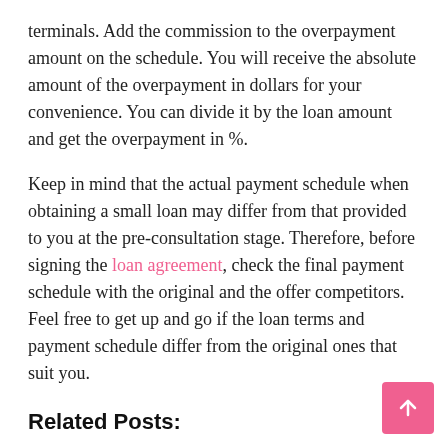terminals. Add the commission to the overpayment amount on the schedule. You will receive the absolute amount of the overpayment in dollars for your convenience. You can divide it by the loan amount and get the overpayment in %.
Keep in mind that the actual payment schedule when obtaining a small loan may differ from that provided to you at the pre-consultation stage. Therefore, before signing the loan agreement, check the final payment schedule with the original and the offer competitors. Feel free to get up and go if the loan terms and payment schedule differ from the original ones that suit you.
Related Posts:
3 times getting a loan is a smart idea
National Payday Relief has a plan to get its customers to say goodbye to those aggressive phone calls from lenders
Can I get approval for a personal loan if I am